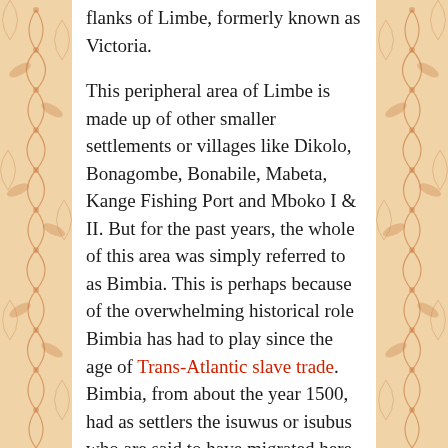flanks of Limbe, formerly known as Victoria.

This peripheral area of Limbe is made up of other smaller settlements or villages like Dikolo, Bonagombe, Bonabile, Mabeta, Kange Fishing Port and Mboko I & II. But for the past years, the whole of this area was simply referred to as Bimbia. This is perhaps because of the overwhelming historical role Bimbia has had to play since the age of Trans-Atlantic slave trade. Bimbia, from about the year 1500, had as settlers the isuwus or isubus who are said to have migrated here from some point along the banks of the Wouri River in the Littoral Region. When one of the descendants of